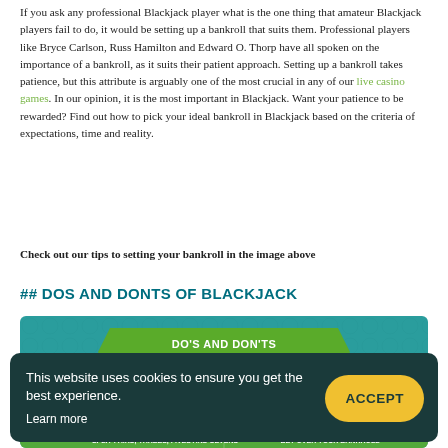If you ask any professional Blackjack player what is the one thing that amateur Blackjack players fail to do, it would be setting up a bankroll that suits them. Professional players like Bryce Carlson, Russ Hamilton and Edward O. Thorp have all spoken on the importance of a bankroll, as it suits their patient approach. Setting up a bankroll takes patience, but this attribute is arguably one of the most crucial in any of our live casino games. In our opinion, it is the most important in Blackjack. Want your patience to be rewarded? Find out how to pick your ideal bankroll in Blackjack based on the criteria of expectations, time and reality.
Check out our tips to setting your bankroll in the image above
## DOS AND DONTS OF BLACKJACK
[Figure (infographic): Infographic showing Do's and Don'ts of Blackjack with a teal background. Top banner reads 'DO'S AND DON'TS OF BLACKJACK' in green ribbon. Below shows playing cards with a green checkmark labeled DO'S and a red X labeled DONT'S. Bottom strip shows additional tips including 'SPLIT PAIRS, THREES, FIVES AND SEVENS' and 'BET OVER YOUR BANKROLL'.]
This website uses cookies to ensure you get the best experience. Learn more
ACCEPT